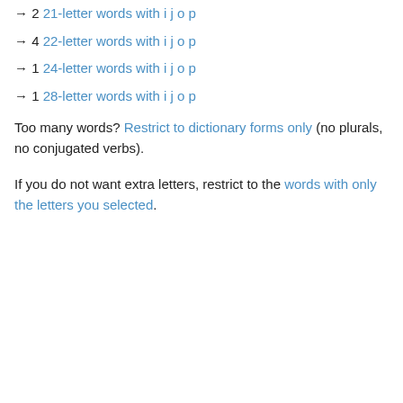→ 2 21-letter words with i j o p
→ 4 22-letter words with i j o p
→ 1 24-letter words with i j o p
→ 1 28-letter words with i j o p
Too many words? Restrict to dictionary forms only (no plurals, no conjugated verbs).
If you do not want extra letters, restrict to the words with only the letters you selected.